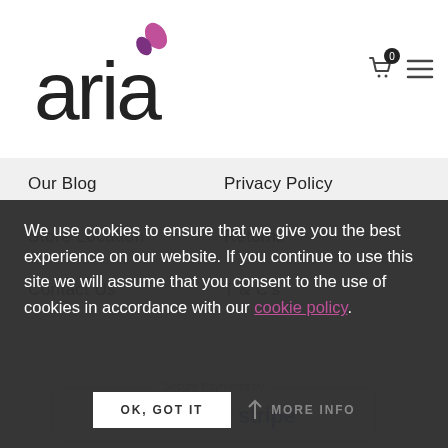aria (logo with shopping cart and menu icon)
Our Blog
Privacy Policy
Store Location
Returns
Contact Us
T & C's
[Figure (logo): Secure Payments by PayPal and Stripe logos inside a rounded rectangle border]
We use cookies to ensure that we give you the best experience on our website. If you continue to use this site we will assume that you consent to the use of cookies in accordance with our cookie policy.
OK, GOT IT    MORE INFO